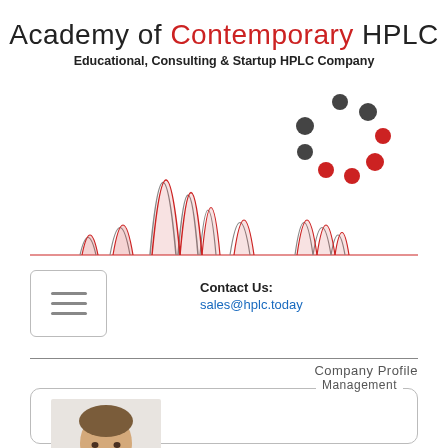Academy of Contemporary HPLC
Educational, Consulting & Startup HPLC Company
[Figure (continuous-plot): HPLC chromatogram showing multiple peaks of varying heights, with gray and red overlapping traces, alongside a circular dot logo pattern with dark gray and red dots]
Contact Us: sales@hplc.today
Company Profile
Management
[Figure (photo): Headshot photo of a man with short brown hair wearing a white shirt, smiling slightly]